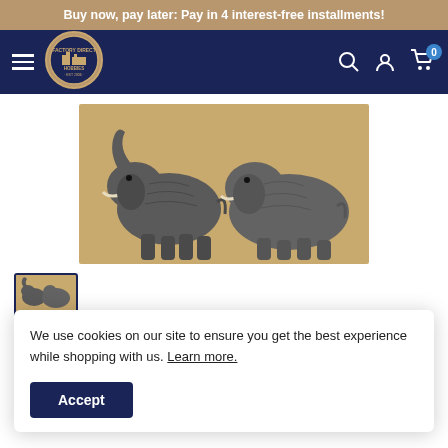Buy now, pay later: Pay in 4 interest-free installments!
[Figure (logo): Factory Direct Hobbies logo — circular badge with building/train imagery, navy background]
[Figure (photo): Two detailed metal/painted elephant figurines walking in profile on a tan/beige background]
[Figure (photo): Small thumbnail of the elephant figurines photo, selected with blue border]
We use cookies on our site to ensure you get the best experience while shopping with us. Learn more.
Accept